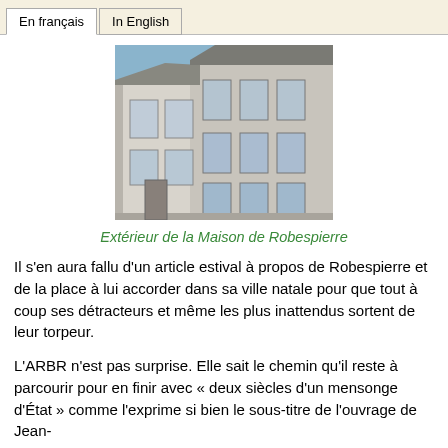En français | In English
[Figure (photo): Photograph of the exterior of the Maison de Robespierre, a multi-story white stone building with large windows against a blue sky]
Extérieur de la Maison de Robespierre
Il s'en aura fallu d'un article estival à propos de Robespierre et de la place à lui accorder dans sa ville natale pour que tout à coup ses détracteurs et même les plus inattendus sortent de leur torpeur.
L'ARBR n'est pas surprise. Elle sait le chemin qu'il reste à parcourir pour en finir avec « deux siècles d'un mensonge d'État » comme l'exprime si bien le sous-titre de l'ouvrage de Jean-